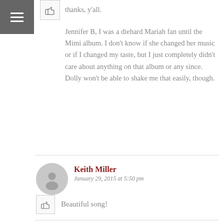thanks, y'all.
Jennifer B, I was a diehard Mariah fan until the Mimi album. I don't know if she changed her music or if I changed my taste, but I just completely didn't care about anything on that album or any since. Dolly won't be able to shake me that easily, though.
Keith Miller
January 29, 2015 at 5:50 pm
Beautiful song!
Jennifer B.
January 29, 2015 at 7:00 pm
I still know every word to those first two